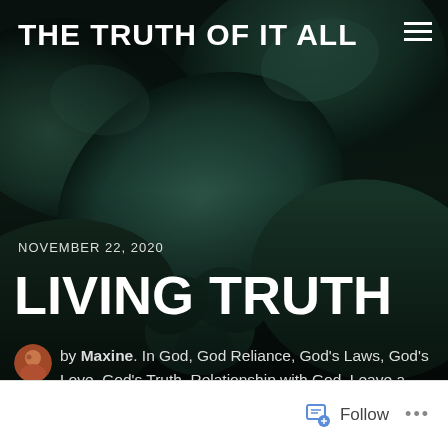[Figure (photo): Dark close-up photo of succulent plant leaves with dark teal/green tones, used as background image for a blog header]
THE TRUTH OF IT ALL
NOVEMBER 22, 2020
LIVING TRUTH
by Maxine. In God, God Reliance, God's Laws, God's Love, God's Truth, Relationship with God. Leave a Comment
Follow ...